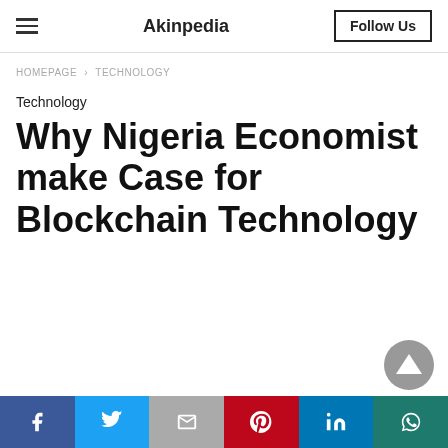Akinpedia
HOMEPAGE > TECHNOLOGY
Technology
Why Nigeria Economist make Case for Blockchain Technology